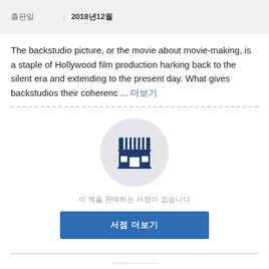출판일 : 2018년12월
The backstudio picture, or the movie about movie-making, is a staple of Hollywood film production harking back to the silent era and extending to the present day. What gives backstudios their coherenc ... 더보기
[Figure (illustration): Store/shop icon in a circle, dark blue awning and storefront on light gray circular background]
이 책을 판매하는 서점이 없습니다
서점 더보기
HOLLYWOOD